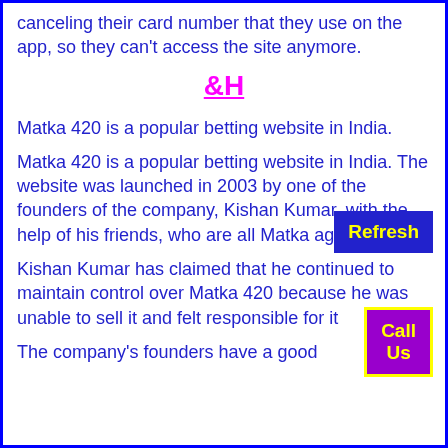canceling their card number that they use on the app, so they can't access the site anymore.
&H
Matka 420 is a popular betting website in India.
Matka 420 is a popular betting website in India. The website was launched in 2003 by one of the founders of the company, Kishan Kumar, with the help of his friends, who are all Matka agents.
Kishan Kumar has claimed that he continued to maintain control over Matka 420 because he was unable to sell it and felt responsible for it
The company's founders have a good